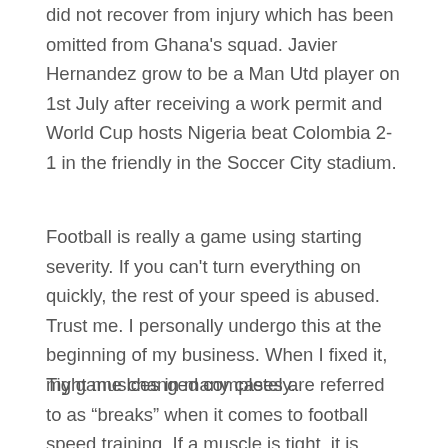did not recover from injury which has been omitted from Ghana's squad. Javier Hernandez grow to be a Man Utd player on 1st July after receiving a work permit and World Cup hosts Nigeria beat Colombia 2-1 in the friendly in the Soccer City stadium.
Football is really a game using starting severity. If you can't turn everything on quickly, the rest of your speed is abused. Trust me. I personally undergo this at the beginning of my business. When I fixed it, my game changed completely.
Tight muslces in many cases are referred to as “breaks” when it comes to football speed training. If a muscle is tight, it is contracted and possibly a contracted muscle can not contract much more.
Over the Internet, additionally, you will find a football betting systems products such as software programs that will run an analysis of football consequences. These products are costly that can range between $150 to $200 $. Be careful when buying these software programs because techniques also many hookers